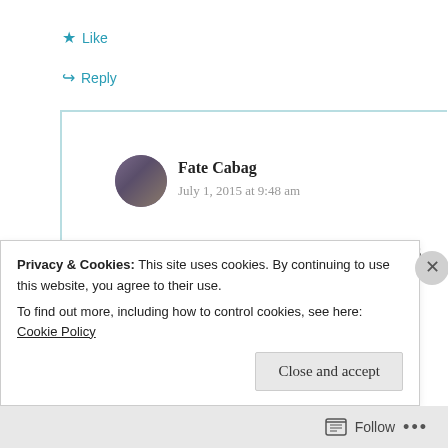Like
Reply
Fate Cabag
July 1, 2015 at 9:48 am
I used acrumpledpaper for several years before turning it into
Privacy & Cookies: This site uses cookies. By continuing to use this website, you agree to their use. To find out more, including how to control cookies, see here: Cookie Policy
Close and accept
Follow